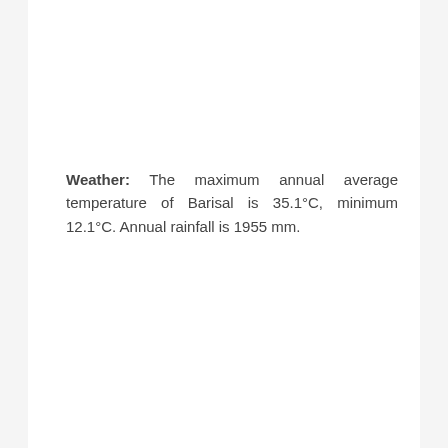Weather: The maximum annual average temperature of Barisal is 35.1°C, minimum 12.1°C. Annual rainfall is 1955 mm.